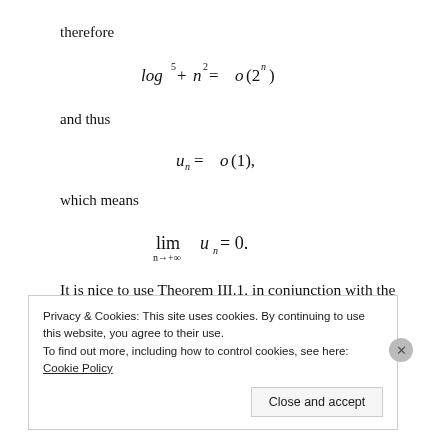therefore
and thus
which means
It is nice to use Theorem III.1. in conjunction with the
Privacy & Cookies: This site uses cookies. By continuing to use this website, you agree to their use.
To find out more, including how to control cookies, see here: Cookie Policy